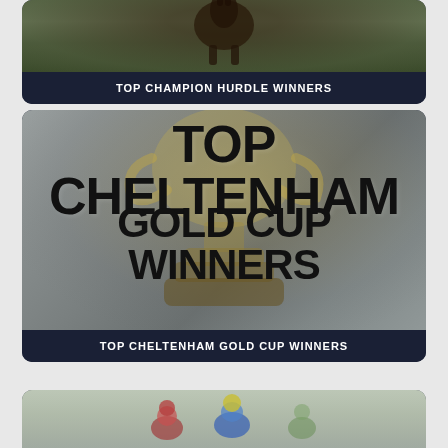[Figure (photo): Partially visible card showing a horse at the top, with dark navy background and white text label reading TOP CHAMPION HURDLE WINNERS]
TOP CHAMPION HURDLE WINNERS
[Figure (photo): Card showing Cheltenham Gold Cup trophy in background with large bold text overlay reading TOP CHELTENHAM GOLD CUP WINNERS]
TOP CHELTENHAM GOLD CUP WINNERS
[Figure (photo): Partially visible card at bottom showing jockeys racing, with dark navy background]